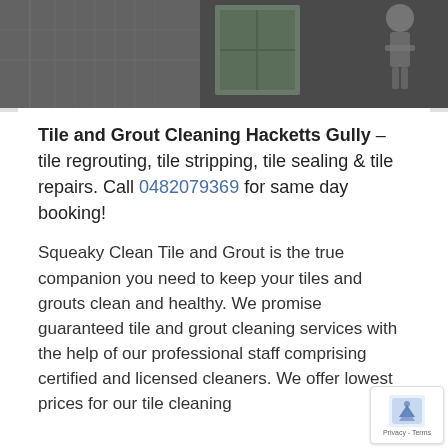[Figure (photo): Dark hero/banner image of a tiled bathroom or cleaning scene, showing curtains and a window with a figure silhouette on the right side]
Tile and Grout Cleaning Hacketts Gully – tile regrouting, tile stripping, tile sealing & tile repairs. Call 0482079369 for same day booking!
Squeaky Clean Tile and Grout is the true companion you need to keep your tiles and grouts clean and healthy. We promise guaranteed tile and grout cleaning services with the help of our professional staff comprising certified and licensed cleaners. We offer lowest prices for our tile cleaning